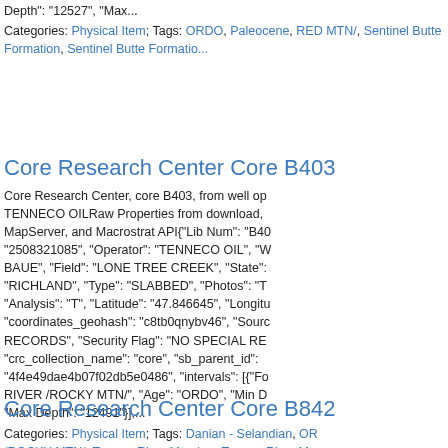Depth": "12527", "Max...
Categories: Physical Item; Tags: ORDO, Paleocene, RED MTN/, Sentinel Butte Formation, Sentinel Butte Formatio...
Core Research Center Core B403
Core Research Center, core B403, from well op TENNECO OILRaw Properties from download, MapServer, and Macrostrat API{"Lib Num": "B40 "2508321085", "Operator": "TENNECO OIL", "W BAUE", "Field": "LONE TREE CREEK", "State": "RICHLAND", "Type": "SLABBED", "Photos": "T "Analysis": "T", "Latitude": "47.846645", "Longitu "coordinates_geohash": "c8tb0qnybv46", "Sourc RECORDS", "Security Flag": "NO SPECIAL RE "crc_collection_name": "core", "sb_parent_id": "4f4e49dae4b07f02db5e0486", "intervals": [{"Fo RIVER /ROCKY MTN/", "Age": "ORDO", "Min D "Max Depth": "12491"}],...
Categories: Physical Item; Tags: Danian - Selandian, OR /ROCKY MTN/, Tongue River Member, Tongue River Me Formation, All tags...
Core Research Center Core B842